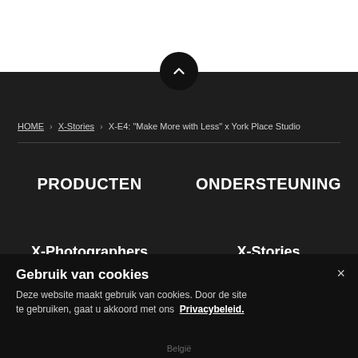[Figure (screenshot): White top area of webpage with dark background below]
HOME > X-Stories > X-E4: "Make More with Less" x York Place Studio
PRODUCTEN
ONDERSTEUNING
X-Photographers
X-Stories
EVENEMENTEN  NIEUWS  PROMOTIES  WINKEL
Gebruik van cookies
Deze website maakt gebruik van cookies. Door de site te gebruiken, gaat u akkoord met ons Privacybeleid.
België